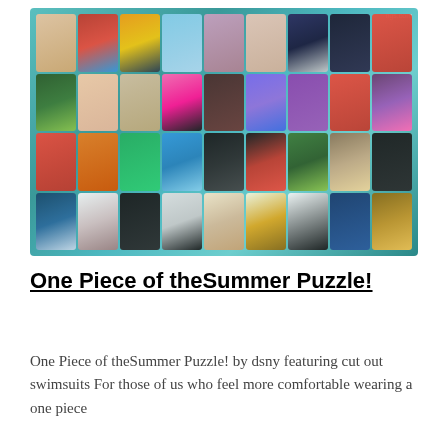[Figure (photo): A collage of many colorful one-piece swimsuits arranged in a grid against a teal ocean/water background. Various styles, colors, and patterns of swimsuits are displayed in approximately 4 rows of 9 suits each.]
One Piece of theSummer Puzzle!
One Piece of theSummer Puzzle! by dsny featuring cut out swimsuits For those of us who feel more comfortable wearing a one piece